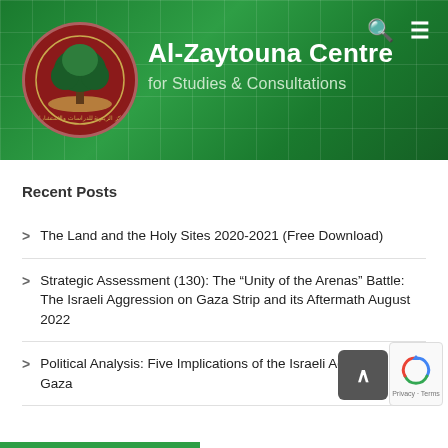Al-Zaytouna Centre for Studies & Consultations
Recent Posts
The Land and the Holy Sites 2020-2021 (Free Download)
Strategic Assessment (130): The “Unity of the Arenas” Battle: The Israeli Aggression on Gaza Strip and its Aftermath August 2022
Political Analysis: Five Implications of the Israeli Aggression on Gaza